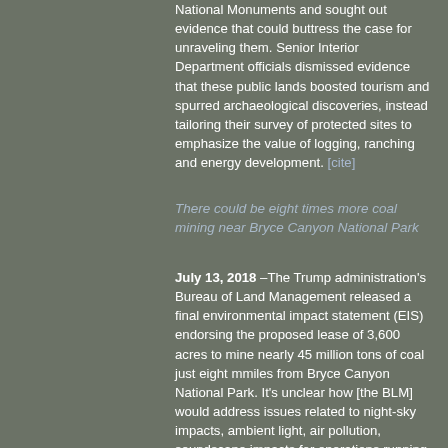National Monuments and sought out evidence that could buttress the case for unraveling them. Senior Interior Department officials dismissed evidence that these public lands boosted tourism and spurred archaeological discoveries, instead tailoring their survey of protected sites to emphasize the value of logging, ranching and energy development. [cite]
There could be eight times more coal mining near Bryce Canyon National Park
July 13, 2018 –The Trump administration's Bureau of Land Management released a final environmental impact statement (EIS) endorsing the proposed lease of 3,600 acres to mine nearly 45 million tons of coal just eight mmiles from Bryce Canyon National Park. It's unclear how [the BLM] would address issues related to night-sky impacts, ambient light, air pollution, soundscape impacts for operations running 24–7, 365 days a year. [cite]